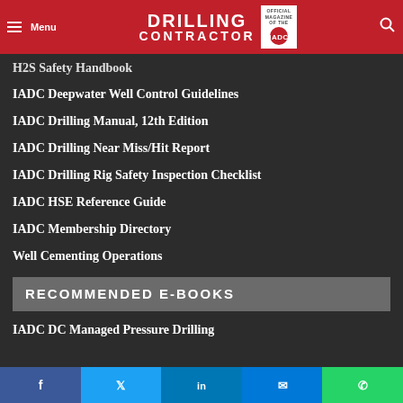Menu | Drilling Contractor — Official Magazine of the IADC
H2S Safety Handbook
IADC Deepwater Well Control Guidelines
IADC Drilling Manual, 12th Edition
IADC Drilling Near Miss/Hit Report
IADC Drilling Rig Safety Inspection Checklist
IADC HSE Reference Guide
IADC Membership Directory
Well Cementing Operations
RECOMMENDED E-BOOKS
IADC DC Managed Pressure Drilling
Facebook Twitter LinkedIn Messenger WhatsApp